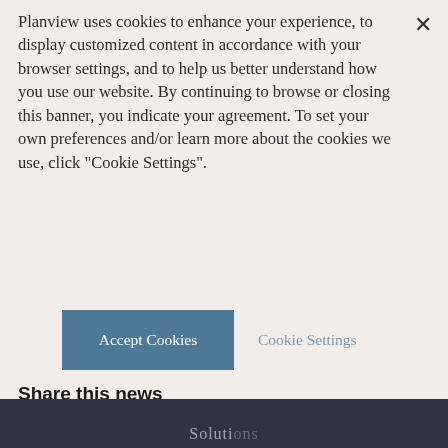Planview uses cookies to enhance your experience, to display customized content in accordance with your browser settings, and to help us better understand how you use our website. By continuing to browse or closing this banner, you indicate your agreement. To set your own preferences and/or learn more about the cookies we use, click "Cookie Settings".
[Figure (other): Accept Cookies button (steel blue rectangle) and Cookie Settings link side by side]
Share this news
[Figure (other): Four social share icon circles: LinkedIn (blue), Twitter (light blue), Facebook (dark blue), Email (gray)]
Solutions